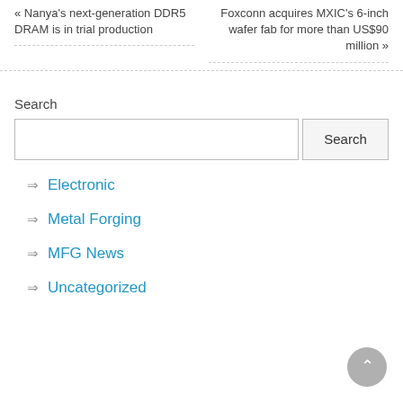« Nanya's next-generation DDR5 DRAM is in trial production
Foxconn acquires MXIC's 6-inch wafer fab for more than US$90 million »
Search
Electronic
Metal Forging
MFG News
Uncategorized